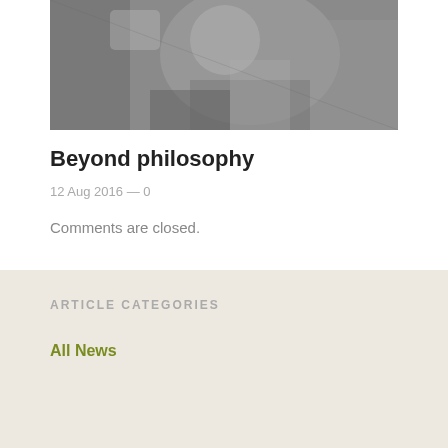[Figure (photo): Black and white photograph of a person seated, partially cropped, showing upper body and hands]
Beyond philosophy
12 Aug 2016 — 0
Comments are closed.
ARTICLE CATEGORIES
All News